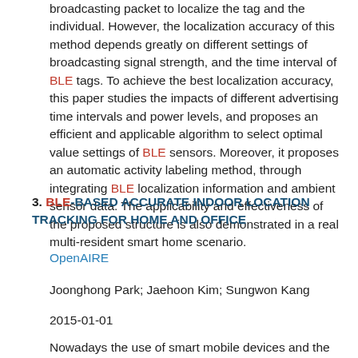broadcasting packet to localize the tag and the individual. However, the localization accuracy of this method depends greatly on different settings of broadcasting signal strength, and the time interval of BLE tags. To achieve the best localization accuracy, this paper studies the impacts of different advertising time intervals and power levels, and proposes an efficient and applicable algorithm to select optimal value settings of BLE sensors. Moreover, it proposes an automatic activity labeling method, through integrating BLE localization information and ambient sensor data. The applicability and effectiveness of the proposed structure is also demonstrated in a real multi-resident smart home scenario.
3. BLE-BASED ACCURATE INDOOR LOCATION TRACKING FOR HOME AND OFFICE
OpenAIRE
Joonghong Park; Jaehoon Kim; Sungwon Kang
2015-01-01
Nowadays the use of smart mobile devices and the accompanying needs for emerging services relying on indoor